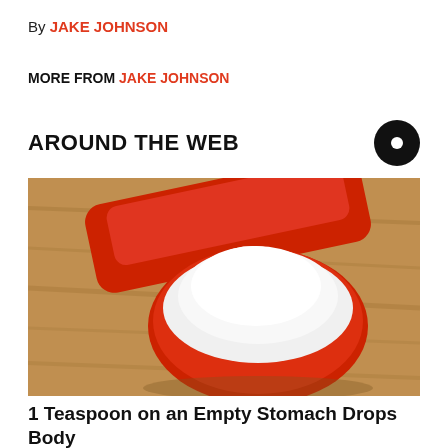By JAKE JOHNSON
MORE FROM JAKE JOHNSON
AROUND THE WEB
[Figure (photo): A red measuring spoon heaped with white powder on a wooden surface]
1 Teaspoon on an Empty Stomach Drops Body Weight Like Crazy!